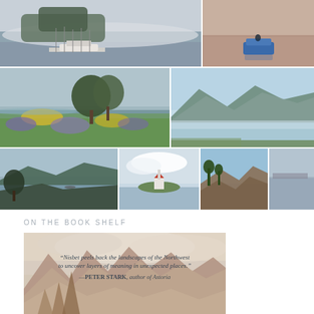[Figure (photo): Misty waterway with marina, sailboat masts, forested island in fog]
[Figure (photo): Calm pinkish-brown water with a blue vehicle/boat in the distance]
[Figure (photo): Wildflower meadow with lupine and yellow flowers, trees and lake in background]
[Figure (photo): Calm lake with misty mountains and blue sky in background]
[Figure (photo): Water view with forested hills and a small boat]
[Figure (photo): Small lighthouse or building on a grassy island in water with clouds]
[Figure (photo): Rocky landscape with trees against a blue sky]
[Figure (photo): Calm grey water with distant landscape]
ON THE BOOK SHELF
[Figure (illustration): Book cover with mountainous landscape painting and quote: 'Nisbet peels back the landscapes of the Northwest to uncover layers of meaning in unexpected places.' —PETER STARK, author of Astoria]